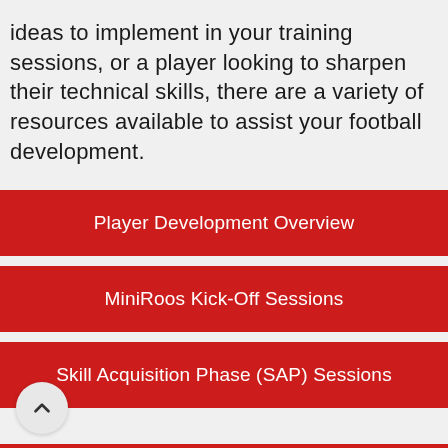ideas to implement in your training sessions, or a player looking to sharpen their technical skills, there are a variety of resources available to assist your football development.
Player Development Overview
MiniRoos Kick-Off Sessions
Skill Acquisition Phase (SAP) Sessions
Game Training Phase Sessions
(partially visible bottom item)